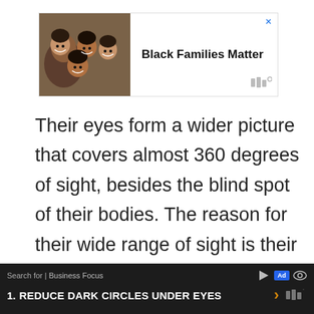[Figure (screenshot): Advertisement banner showing a photo of smiling Black family members and the text 'Black Families Matter' with a close button and logo]
Their eyes form a wider picture that covers almost 360 degrees of sight, besides the blind spot of their bodies. The reason for their wide range of sight is their compound eyes are a multifaceted array of varying eyes altogether arranged to form two larger compound eyes
[Figure (screenshot): Bottom advertisement bar with search text 'Search for | Business Focus', Ad label, play and eye icons, and a result '1. REDUCE DARK CIRCLES UNDER EYES' with orange arrow and logo]